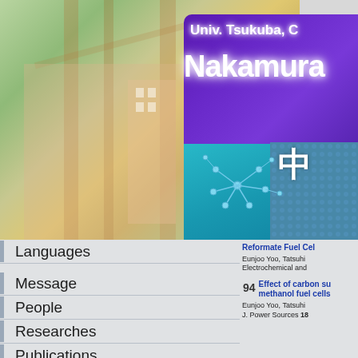[Figure (screenshot): University profile page for Nakamura Lab at Univ. Tsukuba, showing a background photo of trees and building, purple and cyan banner with lab name in English and Japanese kanji, and a molecule diagram.]
Languages
Message
People
Researches
Publications
Reformate Fuel Ce...
Eunjoo Yoo, Tatsuhi...
Electrochemical and...
94
Effect of carbon su... methanol fuel cells...
Eunjoo Yoo, Tatsuhi...
J. Power Sources 18...